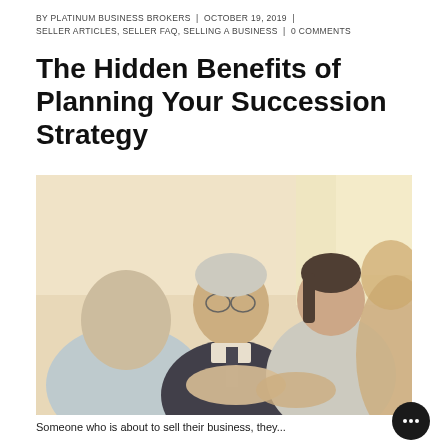BY PLATINUM BUSINESS BROKERS | OCTOBER 19, 2019 | SELLER ARTICLES, SELLER FAQ, SELLING A BUSINESS | 0 COMMENTS
The Hidden Benefits of Planning Your Succession Strategy
[Figure (photo): Business meeting scene: older man with glasses and dark suit smiling, a woman with dark hair smiling, and two other people in the foreground, handshake visible in the lower portion.]
Someone who is about to sell their business, they...